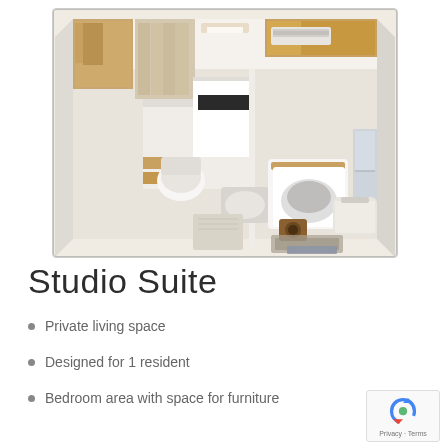[Figure (illustration): 3D floor plan rendering of a Studio Suite showing a room with bunk bed/loft area, bathroom with toilet, desk area, wardrobe, and furniture including a chair. Warm wood-toned cabinetry and cream walls. Top-down perspective 3D view.]
Studio Suite
Private living space
Designed for 1 resident
Bedroom area with space for furniture